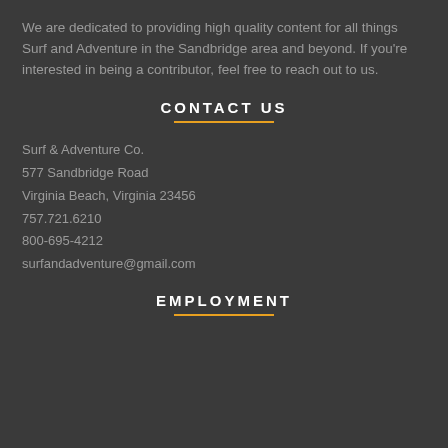We are dedicated to providing high quality content for all things Surf and Adventure in the Sandbridge area and beyond. If you're interested in being a contributor, feel free to reach out to us.
CONTACT US
Surf & Adventure Co.
577 Sandbridge Road
Virginia Beach, Virginia 23456
757.721.6210
800-695-4212
surfandadventure@gmail.com
EMPLOYMENT